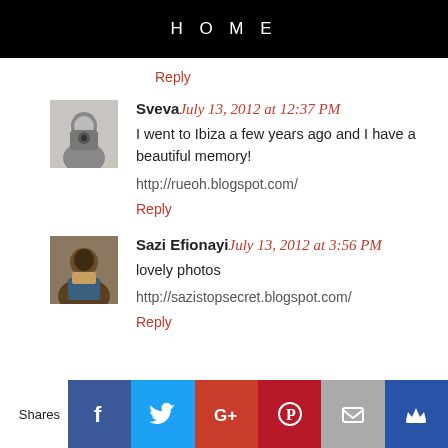HOME
Reply
Sveva July 13, 2012 at 12:37 PM
I went to Ibiza a few years ago and I have a beautiful memory!
http://rueoh.blogspot.com/
Reply
Sazi Efionayi July 13, 2012 at 3:56 PM
lovely photos
http://sazistopsecret.blogspot.com/
Reply
Shares